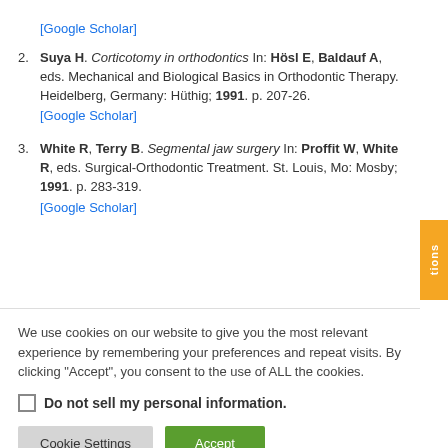2. Suya H. Corticotomy in orthodontics In: Hösl E, Baldauf A, eds. Mechanical and Biological Basics in Orthodontic Therapy. Heidelberg, Germany: Hüthig; 1991. p. 207-26. [Google Scholar]
3. White R, Terry B. Segmental jaw surgery In: Proffit W, White R, eds. Surgical-Orthodontic Treatment. St. Louis, Mo: Mosby; 1991. p. 283-319. [Google Scholar]
We use cookies on our website to give you the most relevant experience by remembering your preferences and repeat visits. By clicking "Accept", you consent to the use of ALL the cookies.
Do not sell my personal information.